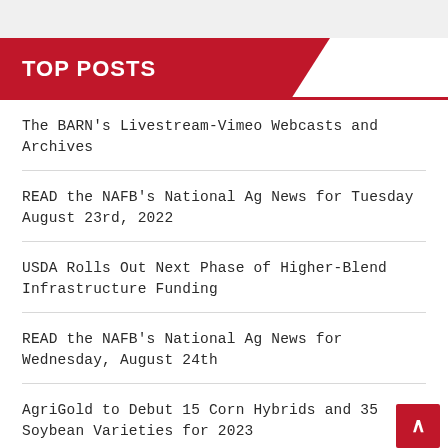TOP POSTS
The BARN's Livestream-Vimeo Webcasts and Archives
READ the NAFB's National Ag News for Tuesday August 23rd, 2022
USDA Rolls Out Next Phase of Higher-Blend Infrastructure Funding
READ the NAFB's National Ag News for Wednesday, August 24th
AgriGold to Debut 15 Corn Hybrids and 35 Soybean Varieties for 2023